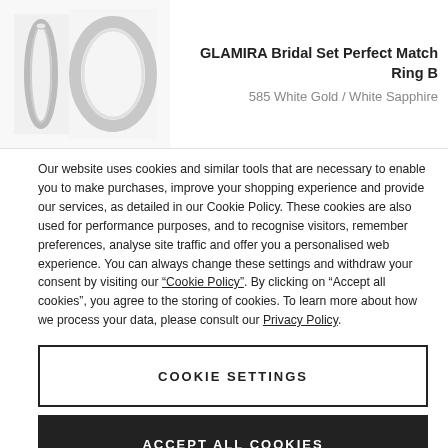[Figure (photo): Two bridal rings shown side by side: a narrow ring on the left and a wider curved band on the right, both white gold.]
GLAMIRA Bridal Set Perfect Match Ring B
585 White Gold / White Sapphire
Our website uses cookies and similar tools that are necessary to enable you to make purchases, improve your shopping experience and provide our services, as detailed in our Cookie Policy. These cookies are also used for performance purposes, and to recognise visitors, remember preferences, analyse site traffic and offer you a personalised web experience. You can always change these settings and withdraw your consent by visiting our “Cookie Policy”. By clicking on “Accept all cookies”, you agree to the storing of cookies. To learn more about how we process your data, please consult our Privacy Policy.
COOKIE SETTINGS
ACCEPT ALL COOKIES